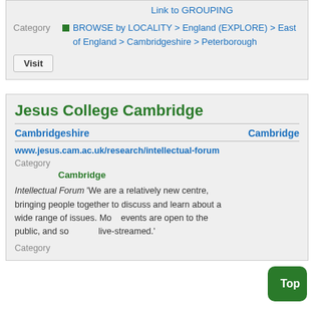Link to GROUPING
Category
BROWSE by LOCALITY > England (EXPLORE) > East of England > Cambridgeshire > Peterborough
Visit
Jesus College Cambridge
Cambridgeshire    Cambridge
www.jesus.cam.ac.uk/research/intellectual-forum
Category
Cambridge
Intellectual Forum  'We are a relatively new centre, bringing people together to discuss and learn about a wide range of issues. Most events are open to the public, and some are live-streamed.'
Category
Top